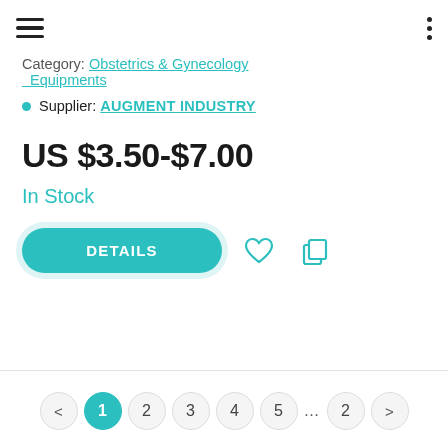Category: Obstetrics & Gynecology Equipments
Supplier: AUGMENT INDUSTRY
US $3.50-$7.00
In Stock
[Figure (screenshot): DETAILS button with heart and copy icons]
< 1 2 3 4 5 ... 2 >